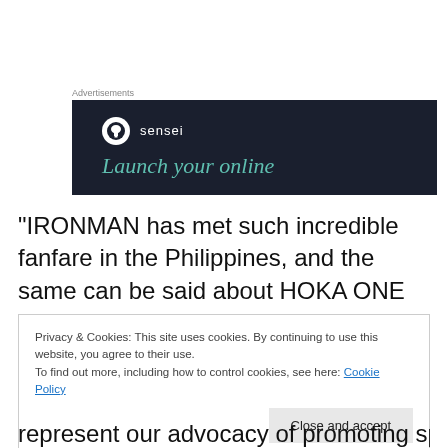Advertisements
[Figure (screenshot): Sensei advertisement banner with dark navy background showing the Sensei logo (tree in circle) and text 'Launch your online']
“IRONMAN has met such incredible fanfare in the Philippines, and the same can be said about HOKA ONE ONE, which was the fastest growing running shoe brand in
Privacy & Cookies: This site uses cookies. By continuing to use this website, you agree to their use.
To find out more, including how to control cookies, see here: Cookie Policy
[Close and accept]
represent our advocacy of promoting sports and fitness to